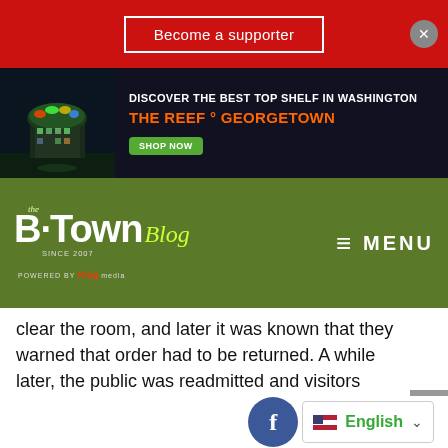[Figure (screenshot): Red banner with 'Become a supporter' button and close X button]
[Figure (screenshot): Advertisement banner: 'DISCOVER THE BEST TOP SHELF IN WASHINGTON / THE REEF ° GEORGETOWN' with SHOP NOW button and night-lit building photo]
[Figure (logo): B-Town Blog logo — 'the B·Town Blog Since 2007 Powered by King Media' on green navigation bar with MENU hamburger icon]
clear the room, and later it was known that they warned that order had to be returned. A while later, the public was readmitted and visitors were orderly and quiet. “They listened to the police and were supportive,” City Manager Brian Wilson told The B-Town Blog Tuesday morning.]]>
[Figure (screenshot): Facebook share circle button and English language selector dropdown at bottom of page]